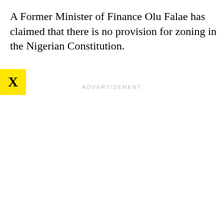A Former Minister of Finance Olu Falae has claimed that there is no provision for zoning in the Nigerian Constitution.
ADVERTISEMENT